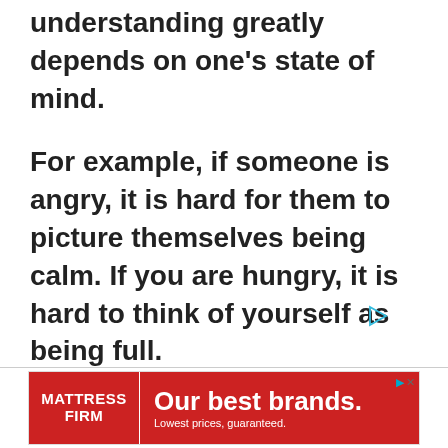understanding greatly depends on one's state of mind.
For example, if someone is angry, it is hard for them to picture themselves being calm. If you are hungry, it is hard to think of yourself as being full.
[Figure (other): Small cyan/teal play button triangle icon]
[Figure (other): Mattress Firm advertisement banner: red background with white text 'Our best brands. Lowest prices, guaranteed.' and Mattress Firm logo on the left.]